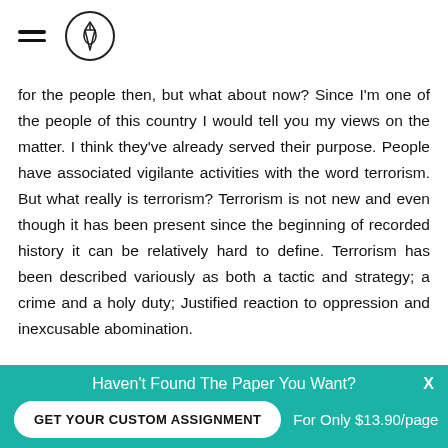[hamburger menu icon] [pencil logo]
for the people then, but what about now? Since I'm one of the people of this country I would tell you my views on the matter. I think they've already served their purpose. People have associated vigilante activities with the word terrorism. But what really is terrorism? Terrorism is not new and even though it has been present since the beginning of recorded history it can be relatively hard to define. Terrorism has been described variously as both a tactic and strategy; a crime and a holy duty; Justified reaction to oppression and inexcusable abomination.
Haven't Found The Paper You Want? GET YOUR CUSTOM ASSIGNMENT For Only $13.90/page